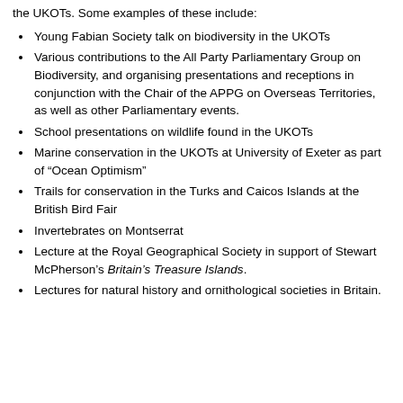the UKOTs. Some examples of these include:
Young Fabian Society talk on biodiversity in the UKOTs
Various contributions to the All Party Parliamentary Group on Biodiversity, and organising presentations and receptions in conjunction with the Chair of the APPG on Overseas Territories, as well as other Parliamentary events.
School presentations on wildlife found in the UKOTs
Marine conservation in the UKOTs at University of Exeter as part of “Ocean Optimism”
Trails for conservation in the Turks and Caicos Islands at the British Bird Fair
Invertebrates on Montserrat
Lecture at the Royal Geographical Society in support of Stewart McPherson’s Britain’s Treasure Islands.
Lectures for natural history and ornithological societies in Britain.